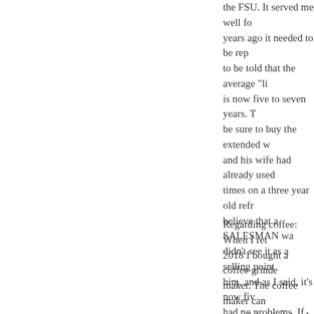the FSU. It served me well for many years ago it needed to be replaced. I was to be told that the average "lifespan" is now five to seven years. The salesman be sure to buy the extended warranty and his wife had already used it several times on a three year old refrigerator. I believe that a SALESMAN was selling and didn't see it as a selling point. I bought him, and as I said, it's now five, and I've had no problems. If necessary, use the warranty as much as possible rather than buying a new fridge.
Regarding coffee: When I retired in 2018 I bought a coffee grinder and coffee maker. The coffee maker can make one mug. I decided that I wanted to do that after years and years of having worked in an office full of people with different tastes drink one mug per day. Actually I savor it. I make it at breakfast time, and often put it aside when I go out (Go out to home ) and continue drinking it...